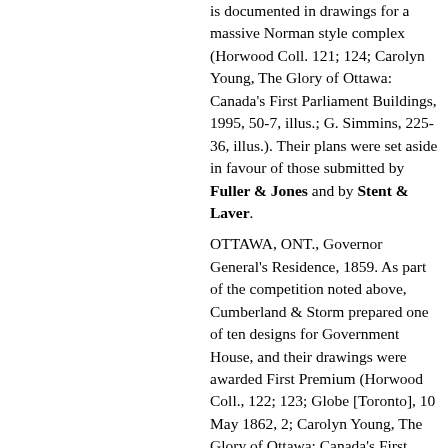is documented in drawings for a massive Norman style complex (Horwood Coll. 121; 124; Carolyn Young, The Glory of Ottawa: Canada's First Parliament Buildings, 1995, 50-7, illus.; G. Simmins, 225-36, illus.). Their plans were set aside in favour of those submitted by Fuller & Jones and by Stent & Laver. OTTAWA, ONT., Governor General's Residence, 1859. As part of the competition noted above, Cumberland & Storm prepared one of ten designs for Government House, and their drawings were awarded First Premium (Horwood Coll., 122; 123; Globe [Toronto], 10 May 1862, 2; Carolyn Young, The Glory of Ottawa: Canada's First Parliament Buildings, 1995, 62-5, illus.; G. Simmins, 237-41, illus.). The project was publicly tendered (Leader [Toronto], 9 Jan. 1860, 3, t.c.) but construction was deferred by the Dept. of Public Works and the scheme was never realized.